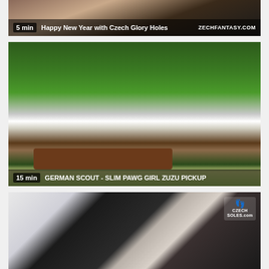[Figure (screenshot): Video thumbnail: Happy New Year with Czech Glory Holes, duration 5 min, ZECHFANTASY.COM watermark]
[Figure (screenshot): Video thumbnail: GERMAN SCOUT - SLIM PAWG GIRL ZUZU PICKUP, duration 15 min, woman sitting on bench in park]
[Figure (screenshot): Video thumbnail: Czech Soles, two people sitting on couch, CzechSoles.com logo watermark]